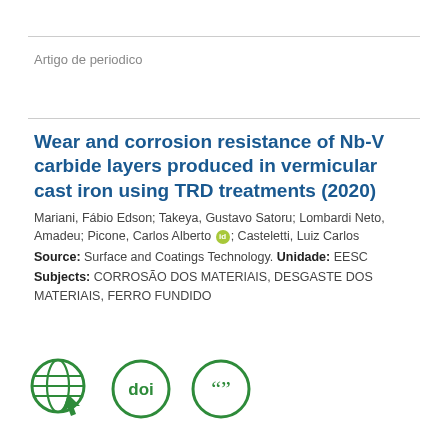Artigo de periodico
Wear and corrosion resistance of Nb-V carbide layers produced in vermicular cast iron using TRD treatments (2020)
Mariani, Fábio Edson; Takeya, Gustavo Satoru; Lombardi Neto, Amadeu; Picone, Carlos Alberto [orcid]; Casteletti, Luiz Carlos
Source: Surface and Coatings Technology. Unidade: EESC
Subjects: CORROSÃO DOS MATERIAIS, DESGASTE DOS MATERIAIS, FERRO FUNDIDO
[Figure (other): Three green icons: a globe/web icon, a DOI badge icon, and a citation/quote icon]